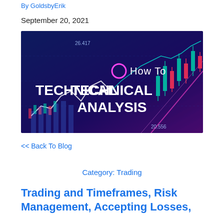By GoldsbyErik
September 20, 2021
[Figure (illustration): Dark blue/purple background with candlestick charts, line charts in teal and white/pink. Text overlay reads 'How To TECHNICAL ANALYSIS' with a pink circle icon. Numbers 26.417 and 20.556 visible on chart axes.]
<< Back To Blog
Category: Trading
Trading and Timeframes, Risk Management, Accepting Losses,